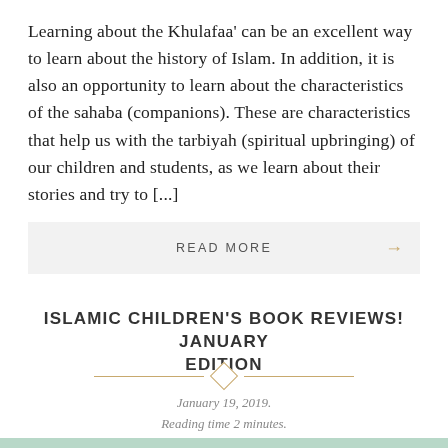Learning about the Khulafaa' can be an excellent way to learn about the history of Islam. In addition, it is also an opportunity to learn about the characteristics of the sahaba (companions). These are characteristics that help us with the tarbiyah (spiritual upbringing) of our children and students, as we learn about their stories and try to [...]
READ MORE →
ISLAMIC CHILDREN'S BOOK REVIEWS! JANUARY EDITION
January 19, 2019.
Reading time 2 minutes.